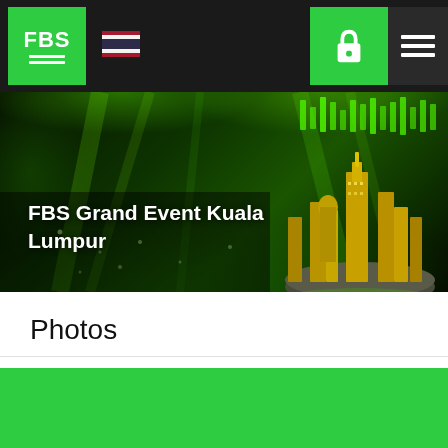[Figure (screenshot): FBS website navigation bar with green FBS logo, Thai flag icon, green lock button, and hamburger menu on dark background]
[Figure (photo): FBS Grand Event Kuala Lumpur hero banner with green laser lights and golden city skyline figurine on dark green background]
FBS Grand Event Kuala Lumpur
Photos
FBS " "
[Figure (other): Green button/banner at bottom of page]